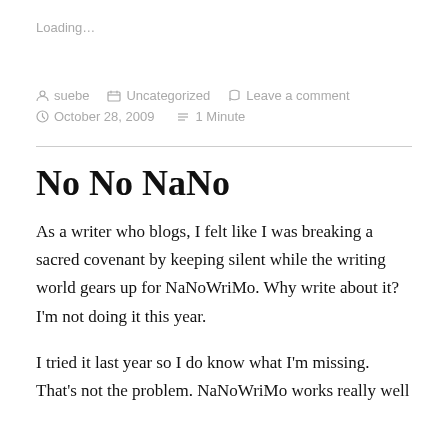Loading…
suebe   Uncategorized   Leave a comment
October 28, 2009   1 Minute
No No NaNo
As a writer who blogs, I felt like I was breaking a sacred covenant by keeping silent while the writing world gears up for NaNoWriMo.  Why write about it?  I'm not doing it this year.
I tried it last year so I do know what I'm missing.  That's not the problem. NaNoWriMo works really well